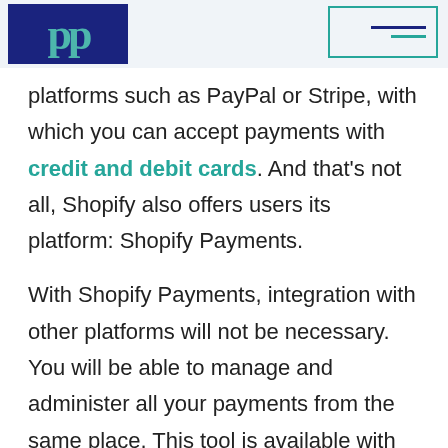[Figure (logo): PayPal-style logo with teal 'pp' letters on dark blue background]
[Figure (other): Menu icon with horizontal lines in a teal-bordered rectangle]
platforms such as PayPal or Stripe, with which you can accept payments with credit and debit cards. And that's not all, Shopify also offers users its platform: Shopify Payments.
With Shopify Payments, integration with other platforms will not be necessary. You will be able to manage and administer all your payments from the same place. This tool is available with any of the Shopify plans you